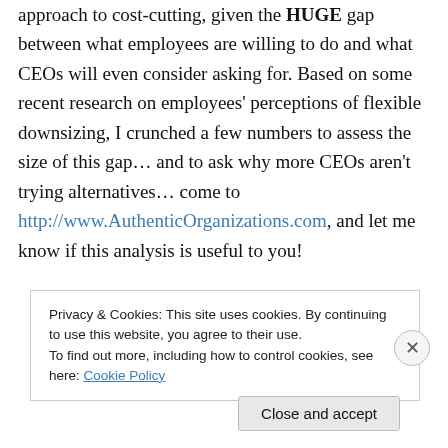approach to cost-cutting, given the HUGE gap between what employees are willing to do and what CEOs will even consider asking for. Based on some recent research on employees' perceptions of flexible downsizing, I crunched a few numbers to assess the size of this gap… and to ask why more CEOs aren't trying alternatives… come to http://www.AuthenticOrganizations.com, and let me know if this analysis is useful to you!
Privacy & Cookies: This site uses cookies. By continuing to use this website, you agree to their use. To find out more, including how to control cookies, see here: Cookie Policy
Close and accept